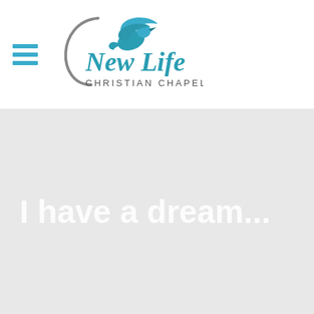[Figure (logo): New Life Christian Chapel logo with a teal dove above a circular arc and cursive/sans-serif text reading 'New Life Christian Chapel']
I have a dream...